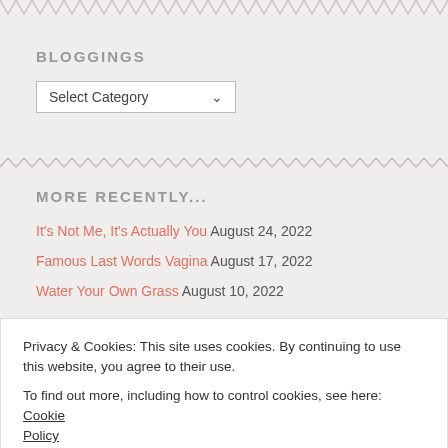BLOGGINGS
[Figure (screenshot): Select Category dropdown widget]
MORE RECENTLY...
It's Not Me, It's Actually You August 24, 2022
Famous Last Words Vagina August 17, 2022
Water Your Own Grass August 10, 2022
Privacy & Cookies: This site uses cookies. By continuing to use this website, you agree to their use. To find out more, including how to control cookies, see here: Cookie Policy
Close and accept